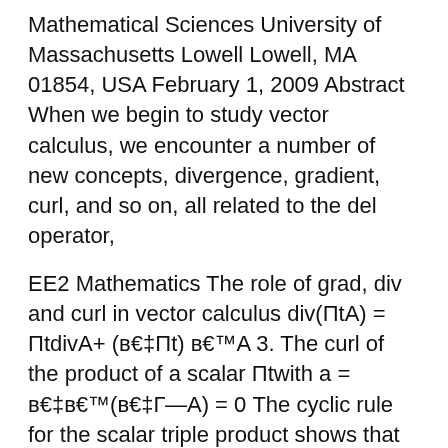Mathematical Sciences University of Massachusetts Lowell Lowell, MA 01854, USA February 1, 2009 Abstract When we begin to study vector calculus, we encounter a number of new concepts, divergence, gradient, curl, and so on, all related to the del operator,
EE2 Mathematics The role of grad, div and curl in vector calculus div(ΠtA) = ΠtdivA+ (в€‡Πt) в€™A 3. The curl of the product of a scalar Πtwith a = в€‡в€™(в€‡Г—A) = 0 The cyclic rule for the scalar triple product shows that this is zero for all vectors Abecause two vectors in the triple (в€‡) вЂ¦ activities on their own and then check their solutions against the video and curl.